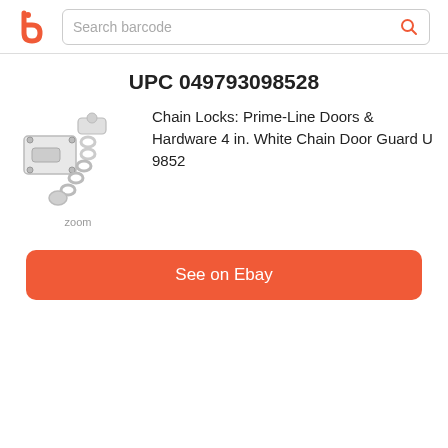[Figure (logo): Barcode lookup app logo: orange letter b]
Search barcode
UPC 049793098528
[Figure (photo): White chain door guard lock hardware product image]
zoom
Chain Locks: Prime-Line Doors & Hardware 4 in. White Chain Door Guard U 9852
See on Ebay